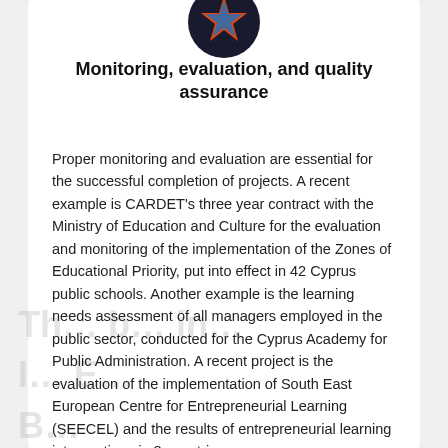[Figure (logo): Dark circular icon with a blue star symbol on dark background]
Monitoring, evaluation, and quality assurance
Proper monitoring and evaluation are essential for the successful completion of projects. A recent example is CARDET's three year contract with the Ministry of Education and Culture for the evaluation and monitoring of the implementation of the Zones of Educational Priority, put into effect in 42 Cyprus public schools. Another example is the learning needs assessment of all managers employed in the public sector, conducted for the Cyprus Academy for Public Administration. A recent project is the evaluation of the implementation of South East European Centre for Entrepreneurial Learning (SEECEL) and the results of entrepreneurial learning interventions in 8 countries.